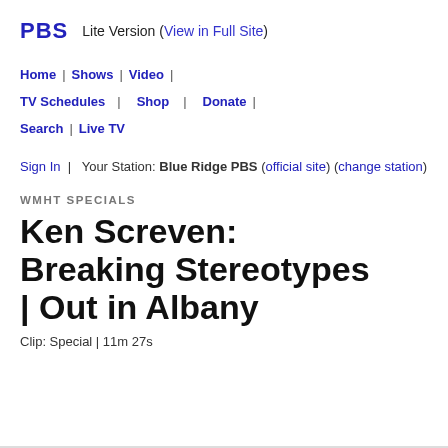PBS  Lite Version (View in Full Site)
Home | Shows | Video | TV Schedules | Shop | Donate | Search | Live TV
Sign In | Your Station: Blue Ridge PBS (official site) (change station)
WMHT SPECIALS
Ken Screven: Breaking Stereotypes | Out in Albany
Clip: Special | 11m 27s